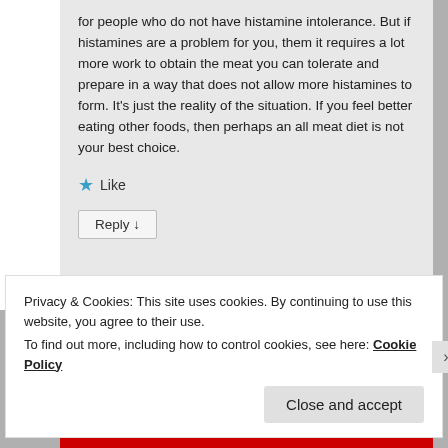for people who do not have histamine intolerance. But if histamines are a problem for you, them it requires a lot more work to obtain the meat you can tolerate and prepare in a way that does not allow more histamines to form. It's just the reality of the situation. If you feel better eating other foods, then perhaps an all meat diet is not your best choice.
Like
Reply ↓
Privacy & Cookies: This site uses cookies. By continuing to use this website, you agree to their use.
To find out more, including how to control cookies, see here: Cookie Policy